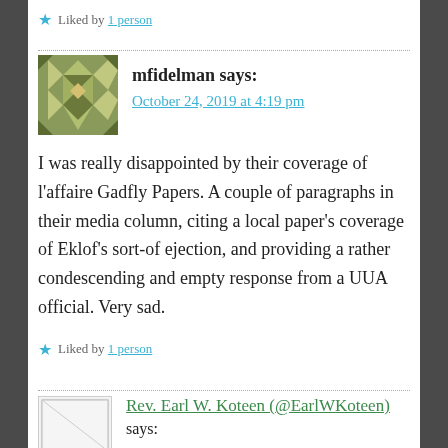★ Liked by 1 person
mfidelman says:
October 24, 2019 at 4:19 pm
I was really disappointed by their coverage of l'affaire Gadfly Papers. A couple of paragraphs in their media column, citing a local paper's coverage of Eklof's sort-of ejection, and providing a rather condescending and empty response from a UUA official. Very sad.
★ Liked by 1 person
Rev. Earl W. Koteen (@EarlWKoteen) says: